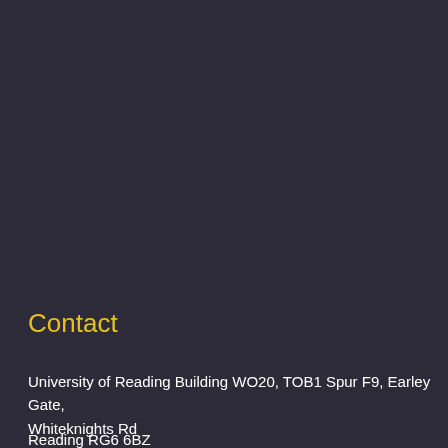Contact
University of Reading Building WO20, TOB1 Spur F9, Earley Gate, Whiteknights Rd
Reading RG6 6BZ